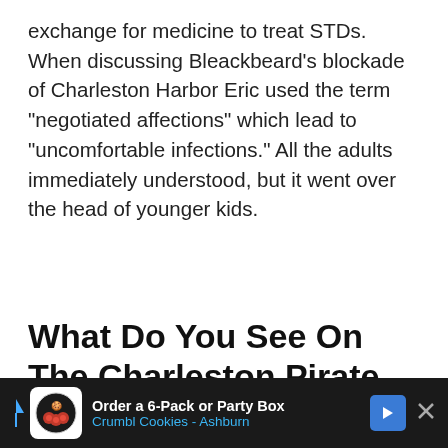exchange for medicine to treat STDs. When discussing Bleackbeard's blockade of Charleston Harbor Eric used the term “negotiated affections” which lead to “uncomfortable infections.” All the adults immediately understood, but it went over the head of younger kids.
What Do You See On The Charleston Pirate Tour?
[Figure (photo): Black and white photo showing bare tree branches against a cloudy sky, with wrought iron decorative elements and a dark post/sign visible in the foreground. A teal favorite/heart button and a white share button overlay the right edge of the image.]
[Figure (other): Advertisement bar at the bottom: dark background with Crumbl Cookies logo, text 'Order a 6-Pack or Party Box', 'Crumbl Cookies - Ashburn', blue navigation arrow icon, and a close/X button.]